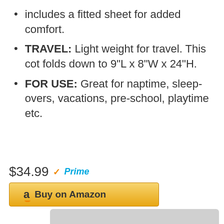includes a fitted sheet for added comfort.
TRAVEL: Light weight for travel. This cot folds down to 9"L x 8"W x 24"H.
FOR USE: Great for naptime, sleep-overs, vacations, pre-school, playtime etc.
$34.99 ✓Prime
[Figure (screenshot): Buy on Amazon button with Amazon logo]
[Figure (photo): Partial view of a product image at the bottom of the page]